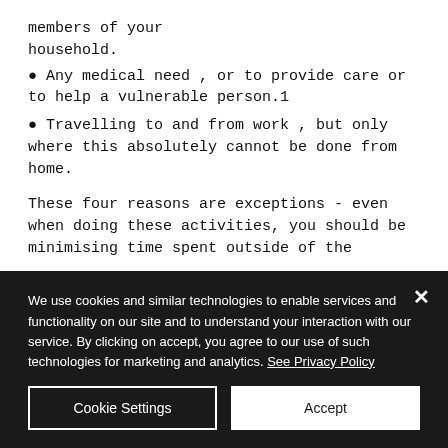members of your household.
• Any medical need , or to provide care or to help a vulnerable person.1
• Travelling to and from work , but only where this absolutely cannot be done from home.
These four reasons are exceptions - even when doing these activities, you should be minimising time spent outside of the
We use cookies and similar technologies to enable services and functionality on our site and to understand your interaction with our service. By clicking on accept, you agree to our use of such technologies for marketing and analytics. See Privacy Policy